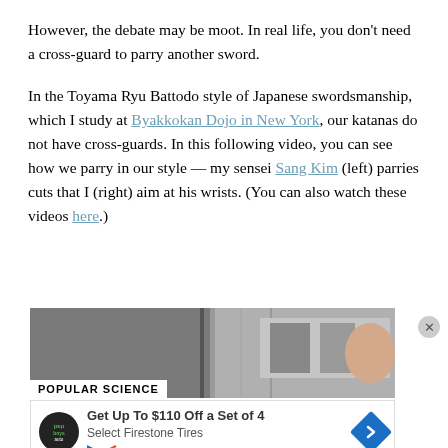However, the debate may be moot. In real life, you don't need a cross-guard to parry another sword.
In the Toyama Ryu Battodo style of Japanese swordsmanship, which I study at Byakkokan Dojo in New York, our katanas do not have cross-guards. In this following video, you can see how we parry in our style — my sensei Sang Kim (left) parries cuts that I (right) aim at his wrists. (You can also watch these videos here.)
[Figure (screenshot): Partial screenshot of a video thumbnail showing people and a Popular Science logo overlay, with an advertisement below for Firestone Tires.]